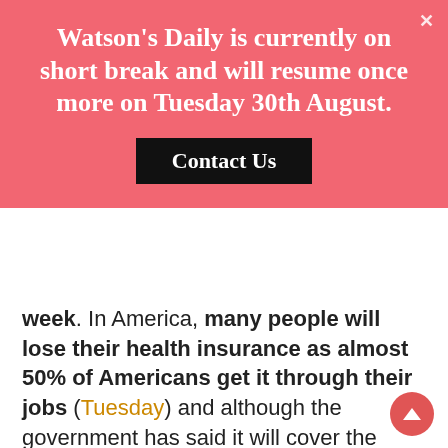Watson's Daily is currently on short break and will resume once more on Tuesday 30th August.
Contact Us
week. In America, many people will lose their health insurance as almost 50% of Americans get it through their jobs (Tuesday) and although the government has said it will cover the costs for 28m uninsured, many are saying this won't be enough. Presumably, the number of people losing their health insurance will increase over time as unemployment